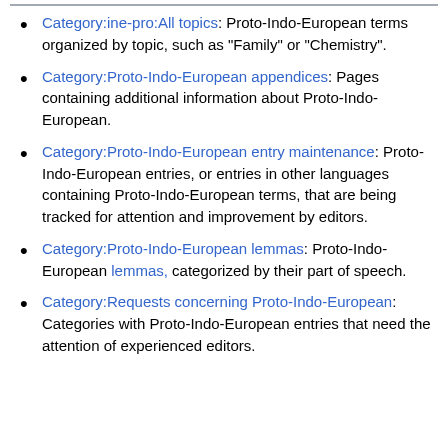Category:ine-pro:All topics: Proto-Indo-European terms organized by topic, such as "Family" or "Chemistry".
Category:Proto-Indo-European appendices: Pages containing additional information about Proto-Indo-European.
Category:Proto-Indo-European entry maintenance: Proto-Indo-European entries, or entries in other languages containing Proto-Indo-European terms, that are being tracked for attention and improvement by editors.
Category:Proto-Indo-European lemmas: Proto-Indo-European lemmas, categorized by their part of speech.
Category:Requests concerning Proto-Indo-European: Categories with Proto-Indo-European entries that need the attention of experienced editors.